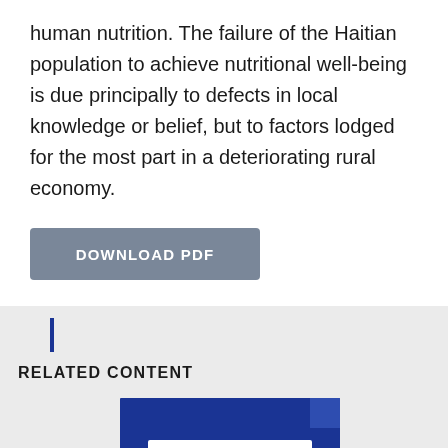human nutrition. The failure of the Haitian population to achieve nutritional well-being is due principally to defects in local knowledge or belief, but to factors lodged for the most part in a deteriorating rural economy.
[Figure (other): Gray download PDF button]
RELATED CONTENT
[Figure (other): Blue document thumbnail with two white horizontal lines representing text, with a folded corner]